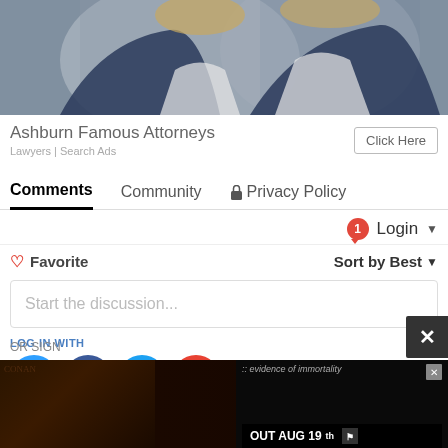[Figure (photo): Two women in dark blazers, partially cropped, professional photo banner]
Ashburn Famous Attorneys
Lawyers | Search Ads
Click Here
Comments
Community
Privacy Policy
Login
Favorite
Sort by Best
Start the discussion...
LOG IN WITH
[Figure (screenshot): Social login icons: Disqus (blue), Facebook (dark blue), Twitter (light blue), Google (red)]
OR SIGN
[Figure (photo): Bottom advertisement banner: Conan album 'evidence of immortality' OUT AUG 19th]